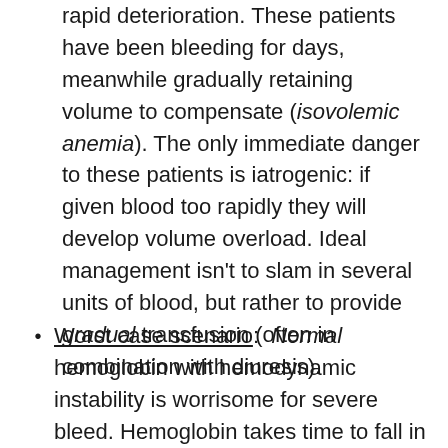rapid deterioration.  These patients have been bleeding for days, meanwhile gradually retaining volume to compensate (isovolemic anemia).  The only immediate danger to these patients is iatrogenic:  if given blood too rapidly they will develop volume overload.  Ideal management isn't to slam in several units of blood, but rather to provide gradual transfusion (often in combination with diuresis).
Worst case scenario:  Normal hemoglobin with hemodynamic instability is worrisome for severe bleed. Hemoglobin takes time to fall in response to bleeding, so normal